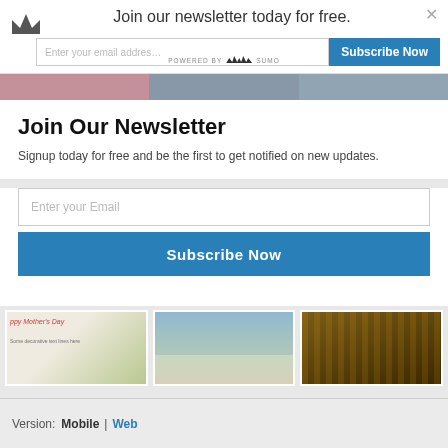[Figure (screenshot): Newsletter subscription popup with Sumo branding showing crown icon, email input field and Subscribe Now button in top bar]
Join Our Newsletter
Signup today for free and be the first to get notified on new updates.
[Figure (screenshot): Email input field placeholder: Enter your Email]
[Figure (screenshot): Subscribe Now button in blue]
[Figure (screenshot): Image gallery showing Mother's Day card, people walking, and wooden walkway]
Version:  Mobile  |  Web